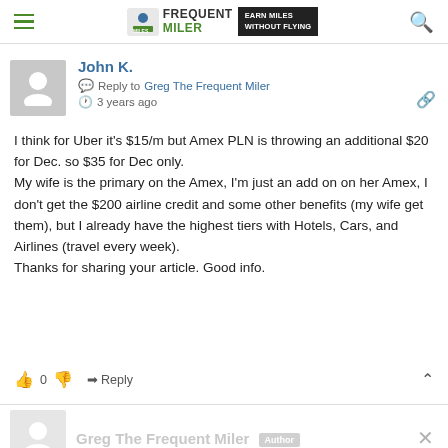Frequent Miler — Earn Miles Without Flying
John K.
Reply to Greg The Frequent Miler
3 years ago
I think for Uber it's $15/m but Amex PLN is throwing an additional $20 for Dec. so $35 for Dec only.
My wife is the primary on the Amex, I'm just an add on on her Amex, I don't get the $200 airline credit and some other benefits (my wife get them), but I already have the highest tiers with Hotels, Cars, and Airlines (travel every week).
Thanks for sharing your article. Good info.
0  Reply
Greg The Frequent Miler  Author